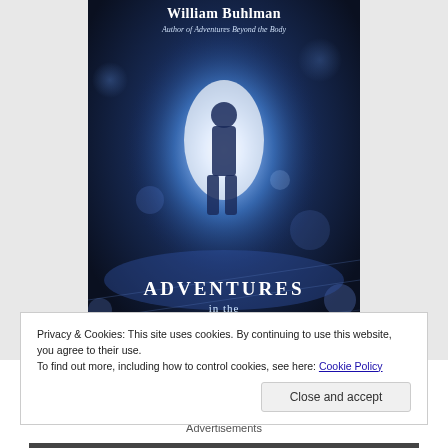[Figure (photo): Book cover of 'Adventures in the Afterlife' by William Buhlman, Author of Adventures Beyond the Body. Dark blue background with a glowing silhouette of a person walking toward a bright white light with bokeh effects.]
Privacy & Cookies: This site uses cookies. By continuing to use this website, you agree to their use.
To find out more, including how to control cookies, see here: Cookie Policy
Close and accept
Advertisements